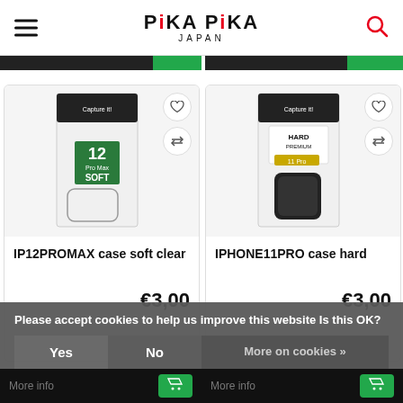PIKA PIKA JAPAN
[Figure (photo): Product image: IP12PROMAX soft clear phone case in packaging]
IP12PROMAX case soft clear
€3,00
[Figure (photo): Product image: IPHONE11PRO hard case in packaging]
IPHONE11PRO case hard
€3,00
Please accept cookies to help us improve this website Is this OK?
Yes
No
More on cookies »